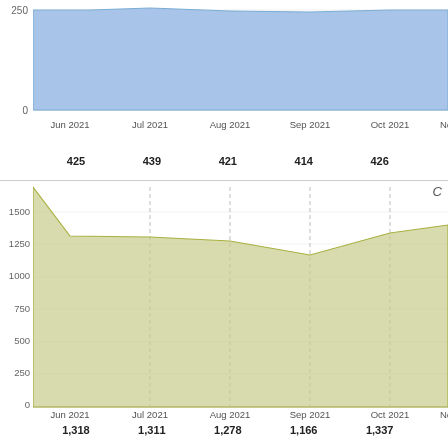[Figure (area-chart): Top chart (partial, blue area)]
[Figure (area-chart): C chart (olive/yellow-green area)]